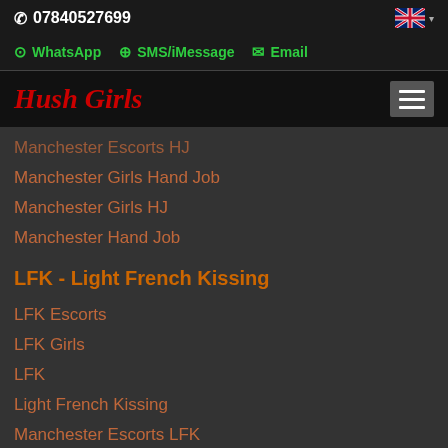07840527699
WhatsApp  SMS/iMessage  Email
Hush Girls
Manchester Escorts HJ
Manchester Girls Hand Job
Manchester Girls HJ
Manchester Hand Job
LFK - Light French Kissing
LFK Escorts
LFK Girls
LFK
Light French Kissing
Manchester Escorts LFK